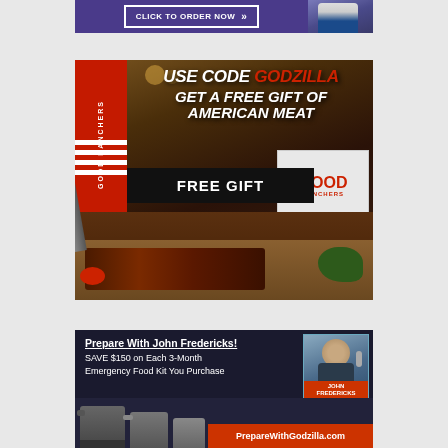[Figure (other): Purple banner ad partially visible at top with 'CLICK TO ORDER NOW' button and figure of man in suit on right side]
[Figure (other): Good Ranchers advertisement: 'USE CODE GODZILLA GET A FREE GIFT OF AMERICAN MEAT' with FREE GIFT button, sliced steak and food products shown, Good Ranchers 100% American branding]
[Figure (other): PrepareWithGodzilla ad: 'Prepare With John Fredericks! SAVE $150 on Each 3-Month Emergency Food Kit You Purchase' with photo of John Fredericks and PrepareWithGodzilla.com URL, emergency food kit pots shown]